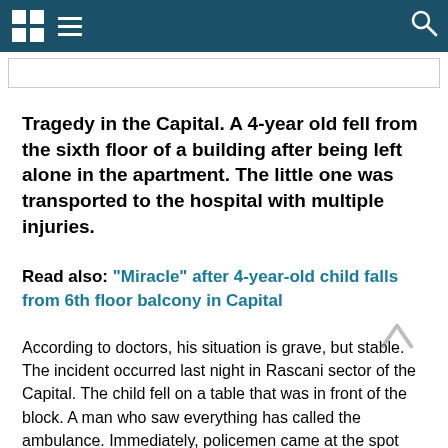[Figure (screenshot): Navigation bar with logo, hamburger menu icon on dark teal background, and search icon on right]
Tragedy in the Capital. A 4-year old fell from the sixth floor of a building after being left alone in the apartment. The little one was transported to the hospital with multiple injuries.
Read also: "Miracle" after 4-year-old child falls from 6th floor balcony in Capital
According to doctors, his situation is grave, but stable. The incident occurred last night in Rascani sector of the Capital. The child fell on a table that was in front of the block. A man who saw everything has called the ambulance. Immediately, policemen came at the spot and began looking for the child's parents.
The police came at the spot and after half an hour police officers have found his mother.
The little one's mother told police officers she went to the shop for